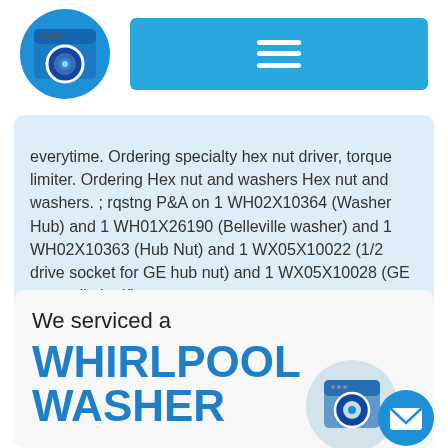[Washer icon] [Menu button]
everytime. Ordering specialty hex nut driver, torque limiter. Ordering Hex nut and washers Hex nut and washers. ; rqstng P&A on 1 WH02X10364 (Washer Hub) and 1 WH01X26190 (Belleville washer) and 1 WH02X10363 (Hub Nut) and 1 WX05X10022 (1/2 drive socket for GE hub nut) and 1 WX05X10028 (GE torque limiter)"
We serviced a
WHIRLPOOL WASHER